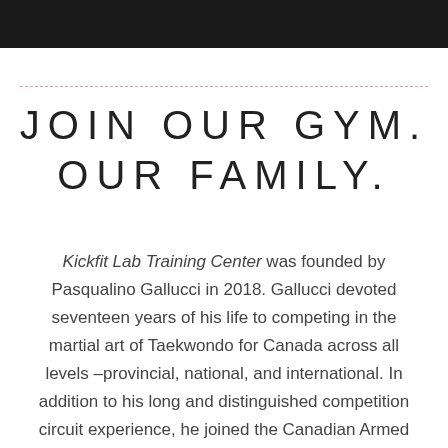JOIN OUR GYM. OUR FAMILY.
Kickfit Lab Training Center was founded by Pasqualino Gallucci in 2018. Gallucci devoted seventeen years of his life to competing in the martial art of Taekwondo for Canada across all levels –provincial, national, and international. In addition to his long and distinguished competition circuit experience, he joined the Canadian Armed Forces as an infantryman for four years, undergoing gruelling and